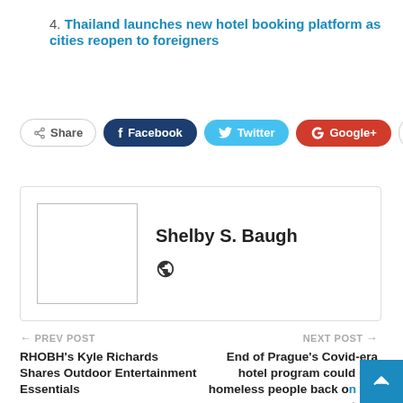4. Thailand launches new hotel booking platform as cities reopen to foreigners
[Figure (screenshot): Social sharing buttons: Share, Facebook, Twitter, Google+, plus button]
[Figure (infographic): Author card with placeholder avatar image and name Shelby S. Baugh with globe icon]
PREV POST
RHOBH's Kyle Richards Shares Outdoor Entertainment Essentials
NEXT POST
End of Prague's Covid-era hotel program could put homeless people back on the streets